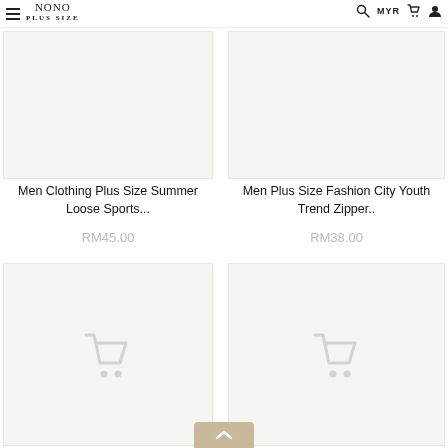NONO PLUS SIZE — MYR navigation header
[Figure (photo): Product image placeholder for Men Clothing Plus Size Summer Loose Sports (light grey background, no product visible)]
Men Clothing Plus Size Summer Loose Sports...
RM45.00
[Figure (photo): Product image placeholder for Men Plus Size Fashion City Youth Trend Zipper (light grey background, no product visible)]
Men Plus Size Fashion City Youth Trend Zipper..
RM38.00
[Figure (photo): Product image placeholder with shopping cart icon (loading state)]
[Figure (photo): Product image placeholder with shopping cart icon (loading state)]